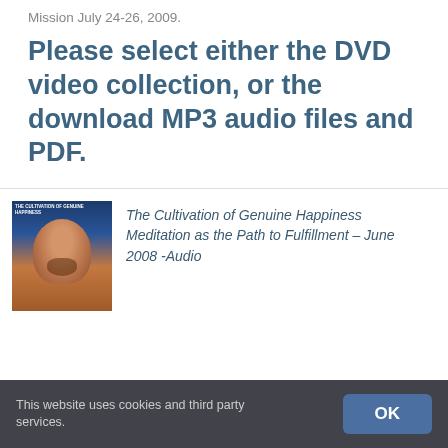Mission July 24-26, 2009.
Please select either the DVD video collection, or the download MP3 audio files and PDF.
[Figure (photo): Book cover image showing a meditating face in blue and orange tones]
The Cultivation of Genuine Happiness Meditation as the Path to Fulfillment – June 2008 -Audio
This website uses cookies and third party services.